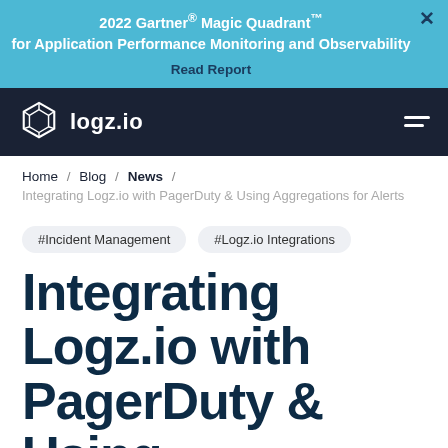2022 Gartner® Magic Quadrant™ for Application Performance Monitoring and Observability
Read Report
[Figure (logo): logz.io logo with hexagon icon in dark navy navigation bar]
Home / Blog / News / Integrating Logz.io with PagerDuty & Using Aggregations for Alerts
#Incident Management
#Logz.io Integrations
Integrating Logz.io with PagerDuty & Using